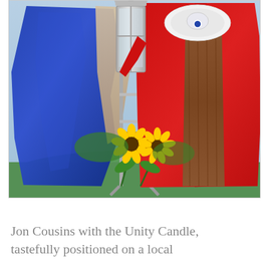[Figure (photo): A person wearing a red ceremonial robe with brown fur trim and white lace collar, holding a silver lantern. A blue cloth or flag is draped nearby on a stand. Sunflowers are resting against the stand. The background shows green grass and a light blue sky.]
Jon Cousins with the Unity Candle, tastefully positioned on a local